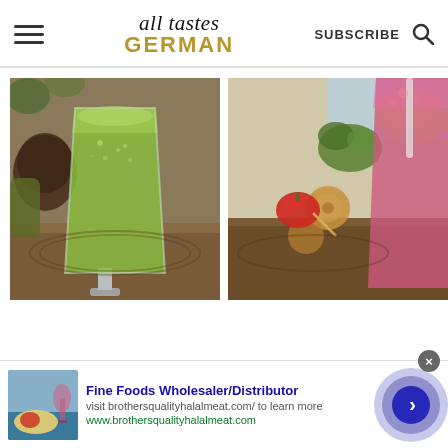all tastes GERMAN — SUBSCRIBE 🔍
[Figure (photo): A tall glass filled with bright green juice/smoothie, placed on a wooden board. Blurred background shows what appears to be food items.]
[Figure (photo): A glass filled with pink/red juice or smoothie with a straw, placed on a wooden board with food items including a cherry tomato, pretzels, parsley, and what appears to be a spread.]
Fine Foods Wholesaler/Distributor
visit brothersqualityhalalmeat.com/ to learn more
www.brothersqualityhalalmeat.com